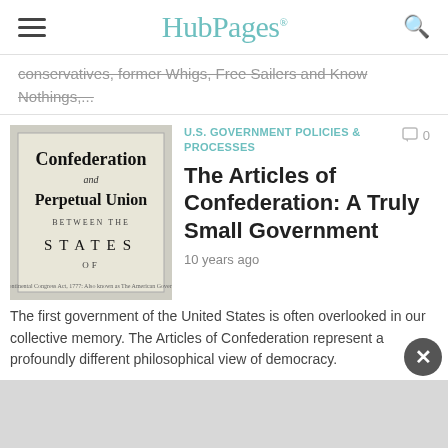HubPages
conservatives, former Whigs, Free Sailers and Know Nothings,...
U.S. GOVERNMENT POLICIES & PROCESSES
[Figure (photo): Historical document title page reading 'Confederation and Perpetual Union BETWEEN THE STATES OF' in old typography on aged paper]
0
The Articles of Confederation: A Truly Small Government
10 years ago
The first government of the United States is often overlooked in our collective memory. The Articles of Confederation represent a profoundly different philosophical view of democracy.